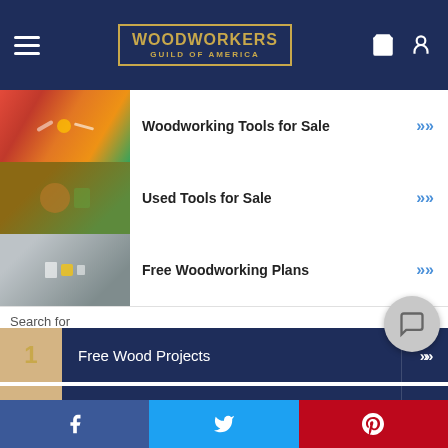[Figure (screenshot): Woodworkers Guild of America website header with hamburger menu, logo, shopping bag and user icons on dark navy background]
Woodworking Tools for Sale
Used Tools for Sale
Free Woodworking Plans
Search for
1 Free Wood Projects
2 Woodworking Tools for Sale
3 Used Tools for Sale
Facebook | Twitter | Pinterest